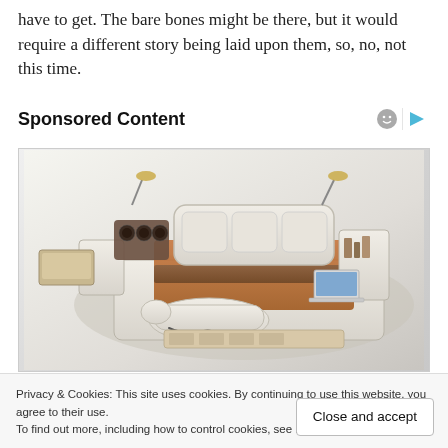have to get. The bare bones might be there, but it would require a different story being laid upon them, so, no, not this time.
Sponsored Content
[Figure (photo): A luxurious multi-functional bed with built-in speakers, massage chair, storage drawers, reading lamps, and a laptop. The bed has cream/beige leather upholstery with brown/orange bedding.]
Privacy & Cookies: This site uses cookies. By continuing to use this website, you agree to their use.
To find out more, including how to control cookies, see here: Cookie Policy
Close and accept